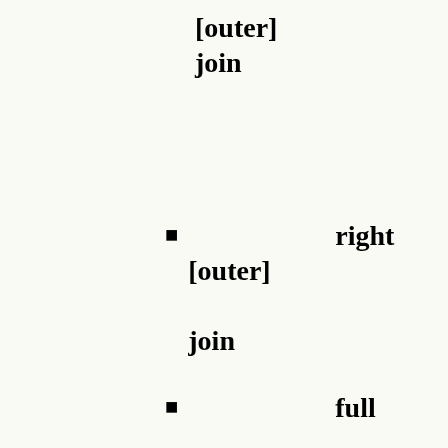[outer] join
right [outer] join
full